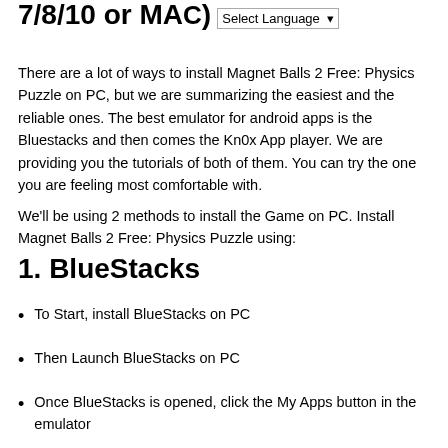7/8/10 or MAC) Select Language
There are a lot of ways to install Magnet Balls 2 Free: Physics Puzzle on PC, but we are summarizing the easiest and the reliable ones. The best emulator for android apps is the Bluestacks and then comes the Kn0x App player. We are providing you the tutorials of both of them. You can try the one you are feeling most comfortable with.
We'll be using 2 methods to install the Game on PC. Install Magnet Balls 2 Free: Physics Puzzle using:
1. BlueStacks
To Start, install BlueStacks on PC
Then Launch BlueStacks on PC
Once BlueStacks is opened, click the My Apps button in the emulator